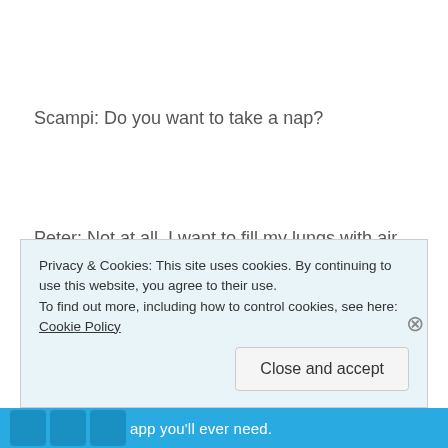Scampi: Do you want to take a nap?
Peter: Not at all. I want to fill my lungs with air.
Privacy & Cookies: This site uses cookies. By continuing to use this website, you agree to their use.
To find out more, including how to control cookies, see here: Cookie Policy
Close and accept